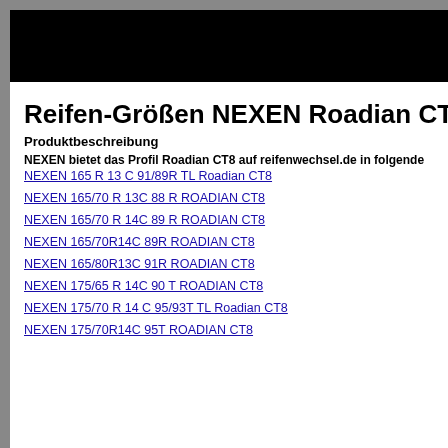[Figure (other): Black header banner image]
Reifen-Größen NEXEN Roadian CT8
Produktbeschreibung
NEXEN bietet das Profil Roadian CT8 auf reifenwechsel.de in folgende
NEXEN 165 R 13 C 91/89R TL Roadian CT8
NEXEN 165/70 R 13C 88 R ROADIAN CT8
NEXEN 165/70 R 14C 89 R ROADIAN CT8
NEXEN 165/70R14C 89R ROADIAN CT8
NEXEN 165/80R13C 91R ROADIAN CT8
NEXEN 175/65 R 14C 90 T ROADIAN CT8
NEXEN 175/70 R 14 C 95/93T TL Roadian CT8
NEXEN 175/70R14C 95T ROADIAN CT8